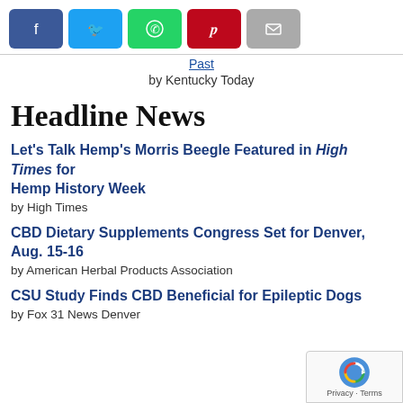[Figure (other): Social share buttons: Facebook (blue), Twitter (light blue), WhatsApp (green), Pinterest (red), Email (gray)]
Past
by Kentucky Today
Headline News
Let's Talk Hemp's Morris Beegle Featured in High Times for Hemp History Week
by High Times
CBD Dietary Supplements Congress Set for Denver, Aug. 15-16
by American Herbal Products Association
CSU Study Finds CBD Beneficial for Epileptic Dogs
by Fox 31 News Denver